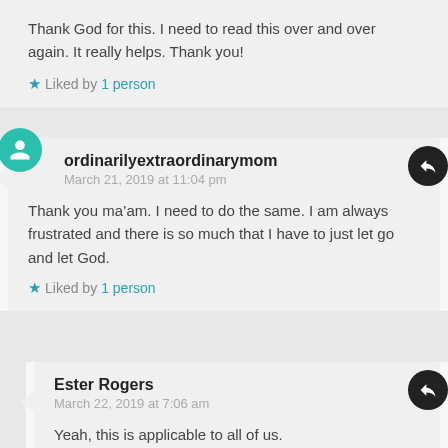Thank God for this. I need to read this over and over again. It really helps. Thank you!
Liked by 1 person
ordinarilyextraordinarymom
March 21, 2019 at 11:04 pm
Thank you ma’am. I need to do the same. I am always frustrated and there is so much that I have to just let go and let God.
Liked by 1 person
Ester Rogers
March 22, 2019 at 7:06 am
Yeah, this is applicable to all of us.